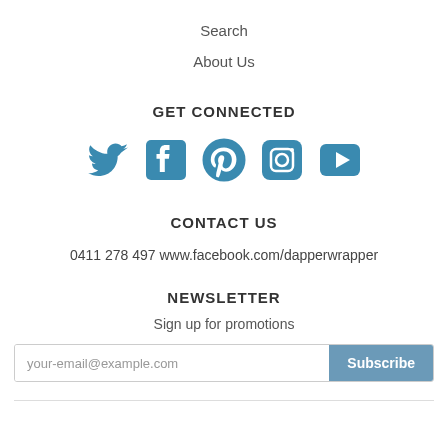Search
About Us
GET CONNECTED
[Figure (infographic): Row of five social media icons in blue: Twitter bird, Facebook f, Pinterest p, Instagram camera, YouTube play button]
CONTACT US
0411 278 497 www.facebook.com/dapperwrapper
NEWSLETTER
Sign up for promotions
your-email@example.com  Subscribe